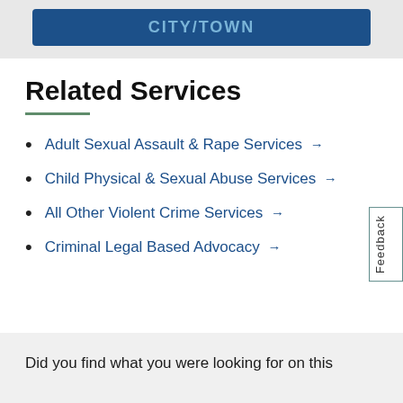[Figure (screenshot): Blue banner with 'CITY/TOWN' text in light blue on dark blue background, inside a grey wrapper area]
Related Services
Adult Sexual Assault & Rape Services →
Child Physical & Sexual Abuse Services →
All Other Violent Crime Services →
Criminal Legal Based Advocacy →
Did you find what you were looking for on this